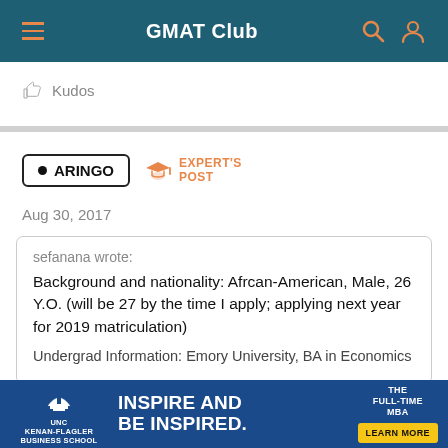GMAT Club
Kudos
ARINGO  EXPERT'S POST
Aug 30, 2017
sefanana wrote:
Background and nationality: Afrcan-American, Male, 26 Y.O. (will be 27 by the time I apply; applying next year for 2019 matriculation)

Undergrad Information: Emory University, BA in Economics...
[Figure (screenshot): UNC Kenan-Flagler Business School advertisement banner: INSPIRE AND BE INSPIRED. THE FULL-TIME MBA. LEARN MORE button.]